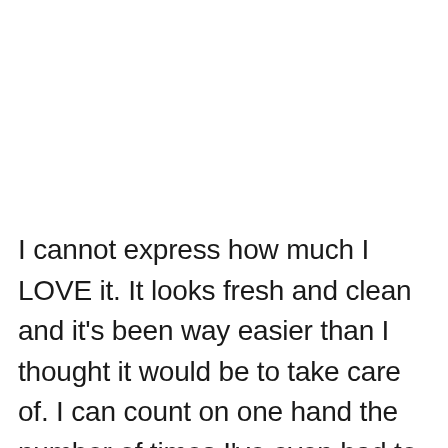I cannot express how much I LOVE it. It looks fresh and clean and it's been way easier than I thought it would be to take care of. I can count on one hand the number of times I've even had to wipe anything off of them in almost two year -- mainly by the sink. The grooves aren't